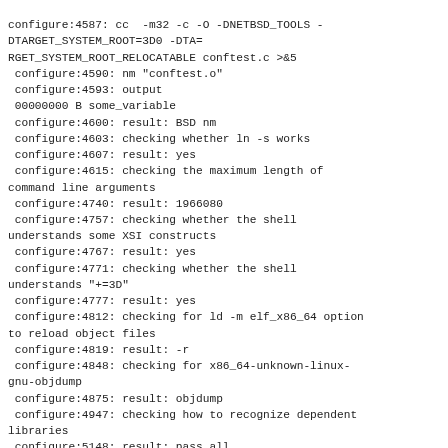configure:4587: cc  -m32 -c -O -DNETBSD_TOOLS -DTARGET_SYSTEM_ROOT=3D0 -DTA=
RGET_SYSTEM_ROOT_RELOCATABLE conftest.c >&5
 configure:4590: nm "conftest.o"
 configure:4593: output
 00000000 B some_variable
 configure:4600: result: BSD nm
 configure:4603: checking whether ln -s works
 configure:4607: result: yes
 configure:4615: checking the maximum length of command line arguments
 configure:4740: result: 1966080
 configure:4757: checking whether the shell understands some XSI constructs
 configure:4767: result: yes
 configure:4771: checking whether the shell understands "+=3D"
 configure:4777: result: yes
 configure:4812: checking for ld -m elf_x86_64 option to reload object files
 configure:4819: result: -r
 configure:4848: checking for x86_64-unknown-linux-gnu-objdump
 configure:4875: result: objdump
 configure:4947: checking how to recognize dependent libraries
 configure:5148: result: pass_all
 configure:5168: checking for x86_64-unknown-linux-gnu-ar
 configure:5195: result: ar